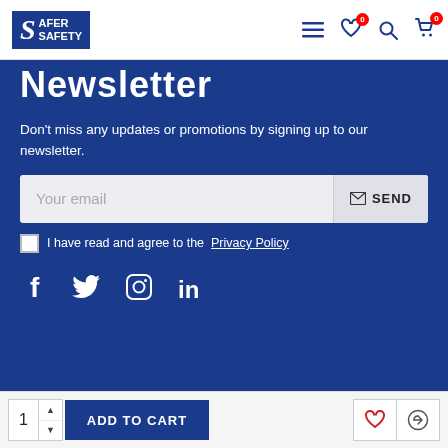[Figure (logo): Safer Safety logo — white S on dark blue background with SAFER / SAFETY text]
Newsletter
Don't miss any updates or promotions by signing up to our newsletter.
Your email [input field] SEND
I have read and agree to the Privacy Policy
[Figure (infographic): Social media icons: Facebook, Twitter, Instagram, LinkedIn]
© 2020 Safer Safety Ltd. All Rights Reserved
[Figure (infographic): Payment icons: VISA, Mastercard, PayPal]
1  ADD TO CART